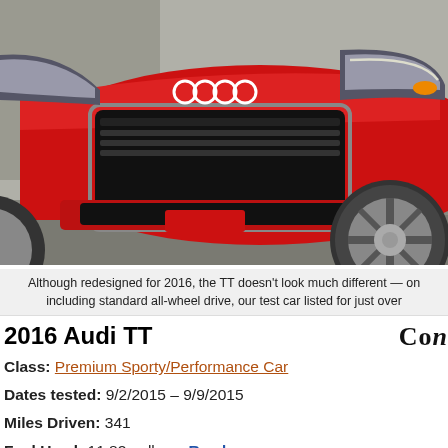[Figure (photo): Front view of a red 2016 Audi TT sports car showing the grille, headlights, and right front wheel on a gray surface background.]
Although redesigned for 2016, the TT doesn't look much different — on including standard all-wheel drive, our test car listed for just over
2016 Audi TT
Class: Premium Sporty/Performance Car
Dates tested: 9/2/2015 – 9/9/2015
Miles Driven: 341
Fuel Used: 11.82 gallons  Read more